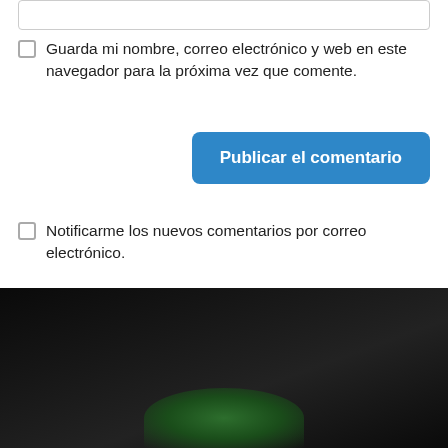[input box]
Guarda mi nombre, correo electrónico y web en este navegador para la próxima vez que comente.
Publicar el comentario
Notificarme los nuevos comentarios por correo electrónico.
Recibir nuevas entradas por email.
[Figure (photo): Dark photograph with a green logo/image visible at the bottom center, mostly black/dark background.]